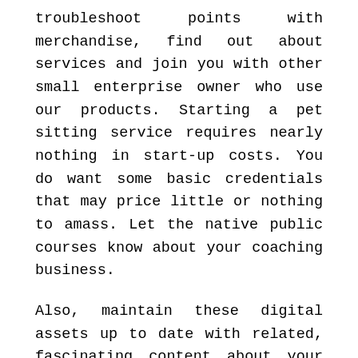troubleshoot points with merchandise, find out about services and join you with other small enterprise owner who use our products. Starting a pet sitting service requires nearly nothing in start-up costs. You do want some basic credentials that may price little or nothing to amass. Let the native public courses know about your coaching business.
Also, maintain these digital assets up to date with related, fascinating content about your small business and industry. According to Ruthann Bowen, chief advertising officer at EastCamp Creative, too many startups have the incorrect mindset about their web sites. Social media.Use social media to unfold the word about your new enterprise, maybe as a promotional